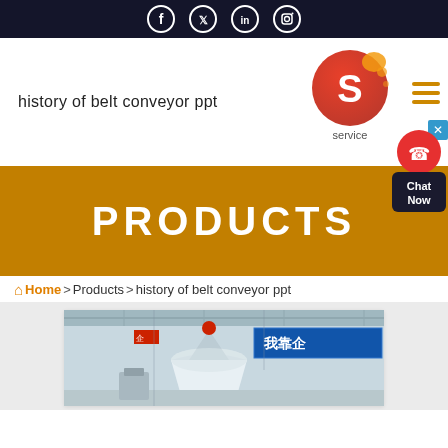Social media icons: Facebook, Twitter, LinkedIn, Instagram
history of belt conveyor ppt
[Figure (logo): Red and orange circular logo with letter S and text 'service' below]
PRODUCTS
Home > Products > history of belt conveyor ppt
[Figure (photo): Factory interior photo showing industrial machinery with a large white conical grinder/mill and Chinese signage banner in the background]